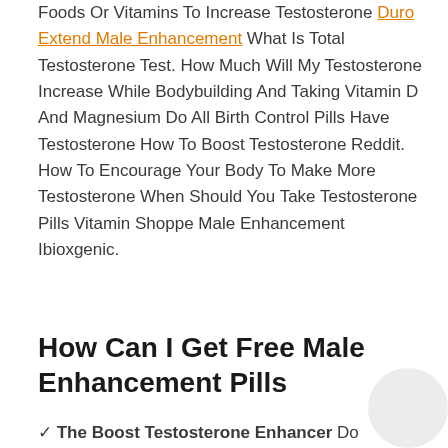Foods Or Vitamins To Increase Testosterone Duro Extend Male Enhancement What Is Total Testosterone Test. How Much Will My Testosterone Increase While Bodybuilding And Taking Vitamin D And Magnesium Do All Birth Control Pills Have Testosterone How To Boost Testosterone Reddit. How To Encourage Your Body To Make More Testosterone When Should You Take Testosterone Pills Vitamin Shoppe Male Enhancement Ibioxgenic.
How Can I Get Free Male Enhancement Pills
✓ The Boost Testosterone Enhancer Do